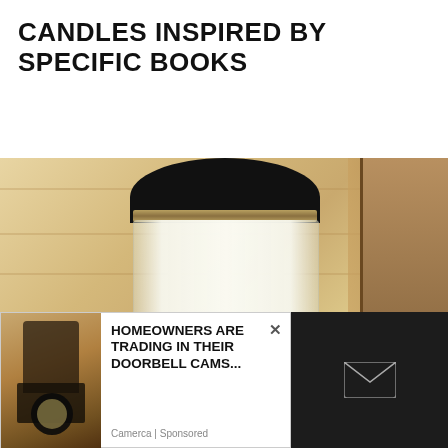CANDLES INSPIRED BY SPECIFIC BOOKS
[Figure (photo): A white candle jar with a black lid, branded 'Wick and Sarcasm - Candles with a Sense of Humor', displayed against a wooden plank background]
[Figure (infographic): Advertisement overlay showing an outdoor security camera/lamp on the left, text 'HOMEOWNERS ARE TRADING IN THEIR DOORBELL CAMS...' with a close button, sponsored by Camerca, and a dark email/subscribe button on the right]